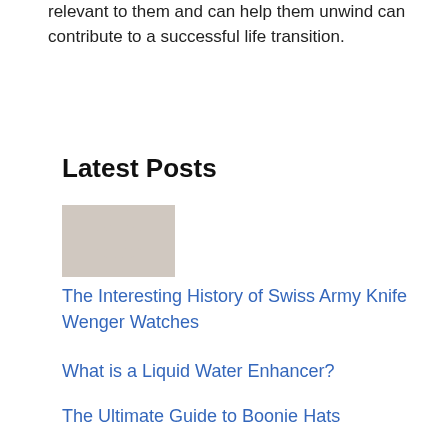relevant to them and can help them unwind can contribute to a successful life transition.
Latest Posts
[Figure (photo): Small thumbnail photo of a person with a watch or knife tool]
The Interesting History of Swiss Army Knife Wenger Watches
What is a Liquid Water Enhancer?
The Ultimate Guide to Boonie Hats